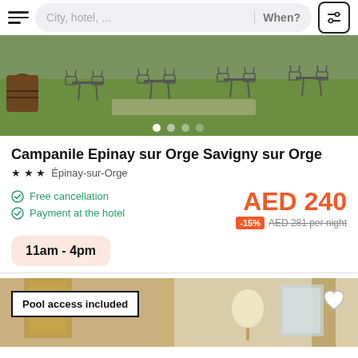City, hotel, ... | When?
[Figure (photo): Outdoor restaurant terrace with metal garden chairs and tables on grass, barrel visible on left]
Campanile Epinay sur Orge Savigny sur Orge
★★★ Épinay-sur-Orge
Free cancellation
Payment at the hotel
AED 240
-15% AED 281 per night
11am - 4pm
[Figure (photo): Hotel room interior with warm tones, curtains, lamp and mirror visible; Pool access included badge overlay]